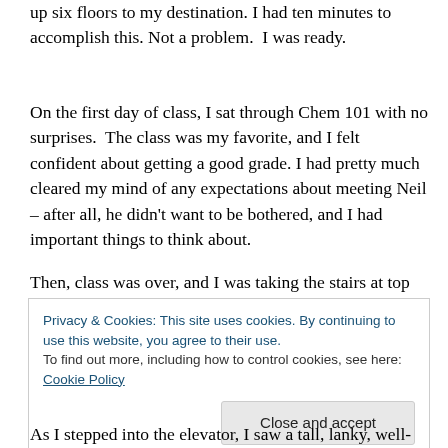up six floors to my destination. I had ten minutes to accomplish this. Not a problem. I was ready.
On the first day of class, I sat through Chem 101 with no surprises. The class was my favorite, and I felt confident about getting a good grade. I had pretty much cleared my mind of any expectations about meeting Neil – after all, he didn't want to be bothered, and I had important things to think about.
Then, class was over, and I was taking the stairs at top speed, booking across the plaza, down the steps, and into
Privacy & Cookies: This site uses cookies. By continuing to use this website, you agree to their use.
To find out more, including how to control cookies, see here: Cookie Policy
As I stepped into the elevator, I saw a tall, lanky, well-